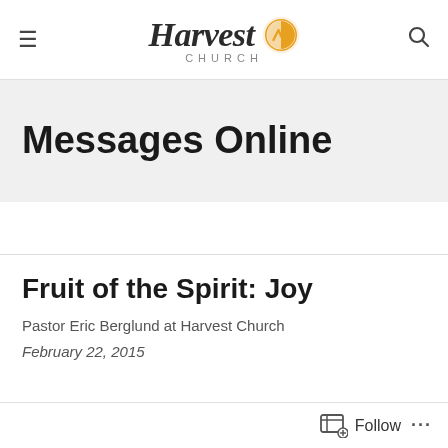Harvest Church
Messages Online
Fruit of the Spirit: Joy
Pastor Eric Berglund at Harvest Church
February 22, 2015
Follow